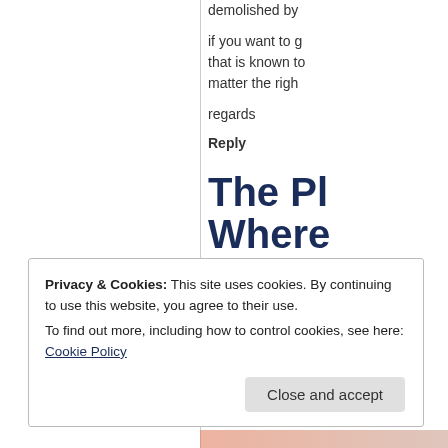demolished by
if you want to g that is known to matter the righ
regards
Reply
The Pl Where Works
Privacy & Cookies: This site uses cookies. By continuing to use this website, you agree to their use.
To find out more, including how to control cookies, see here: Cookie Policy
Close and accept